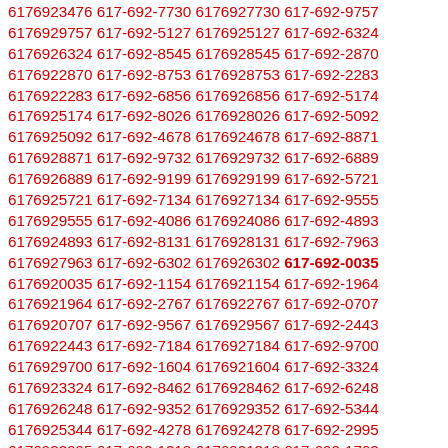6176923476 617-692-7730 6176927730 617-692-9757 6176929757 617-692-5127 6176925127 617-692-6324 6176926324 617-692-8545 6176928545 617-692-2870 6176922870 617-692-8753 6176928753 617-692-2283 6176922283 617-692-6856 6176926856 617-692-5174 6176925174 617-692-8026 6176928026 617-692-5092 6176925092 617-692-4678 6176924678 617-692-8871 6176928871 617-692-9732 6176929732 617-692-6889 6176926889 617-692-9199 6176929199 617-692-5721 6176925721 617-692-7134 6176927134 617-692-9555 6176929555 617-692-4086 6176924086 617-692-4893 6176924893 617-692-8131 6176928131 617-692-7963 6176927963 617-692-6302 6176926302 617-692-0035 6176920035 617-692-1154 6176921154 617-692-1964 6176921964 617-692-2767 6176922767 617-692-0707 6176920707 617-692-9567 6176929567 617-692-2443 6176922443 617-692-7184 6176927184 617-692-9700 6176929700 617-692-1604 6176921604 617-692-3324 6176923324 617-692-8462 6176928462 617-692-6248 6176926248 617-692-9352 6176929352 617-692-5344 6176925344 617-692-4278 6176924278 617-692-2995 6176922995 617-692-1318 6176921318 617-692-1763 6176921763 617-692-8186 6176928186 617-692-7820 6176927820 617-692-1255 6176921255 617-692-3582 6176923582 617-692-1201 6176921201 617-692-3121